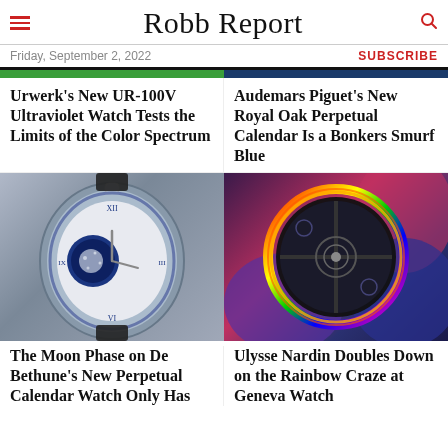Robb Report
Friday, September 2, 2022
SUBSCRIBE
Urwerk's New UR-100V Ultraviolet Watch Tests the Limits of the Color Spectrum
Audemars Piguet's New Royal Oak Perpetual Calendar Is a Bonkers Smurf Blue
[Figure (photo): Close-up of a De Bethune perpetual calendar watch with blue dial, moon phase, and Roman numerals on a black leather strap against grey background]
[Figure (photo): Ulysse Nardin watch with rainbow-colored bezel and dark openwork dial, set against colorful blue, pink and purple background]
The Moon Phase on De Bethune's New Perpetual Calendar Watch Only Has
Ulysse Nardin Doubles Down on the Rainbow Craze at Geneva Watch